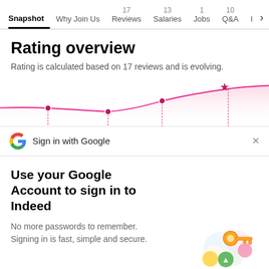Snapshot  Why Join Us  17 Reviews  13 Salaries  1 Jobs  10 Q&A  I >
Rating overview
Rating is calculated based on 17 reviews and is evolving.
[Figure (line-chart): Pink line chart showing rating trend over time with data points (dots) and a star at the highest point on the right]
Sign in with Google
Use your Google Account to sign in to Indeed
No more passwords to remember.
Signing in is fast, simple and secure.
[Figure (illustration): Google sign-in illustration with a golden key and colorful circular icons]
Continue